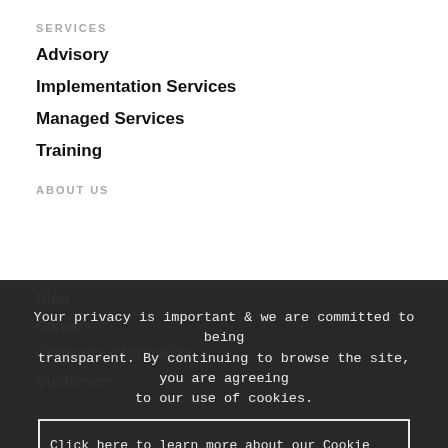SERVICES
Advisory
Implementation Services
Managed Services
Training
ABOUT US
Blog
Careers
Company Information
Customers
Your privacy is important & we are committed to being transparent. By continuing to browse the site, you are agreeing to our use of cookies.
Click here to learn more about our Cookie and Privacy Settings.
OK